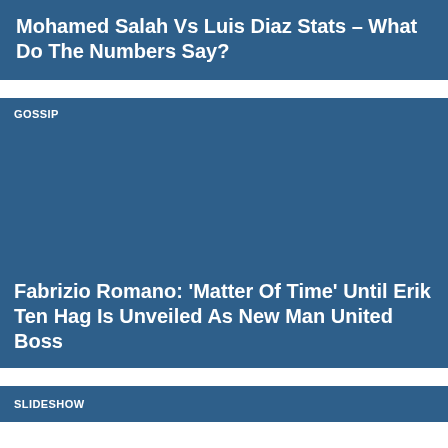Mohamed Salah Vs Luis Diaz Stats – What Do The Numbers Say?
GOSSIP
Fabrizio Romano: 'Matter Of Time' Until Erik Ten Hag Is Unveiled As New Man United Boss
SLIDESHOW